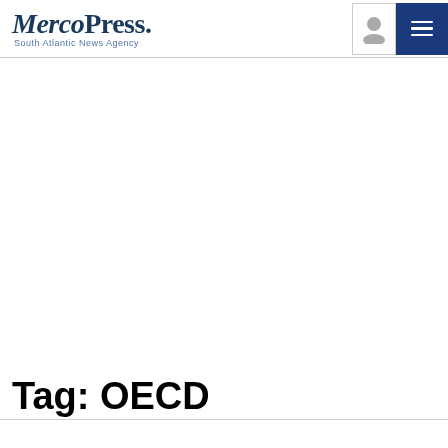MercoPress. South Atlantic News Agency
Tag: OECD